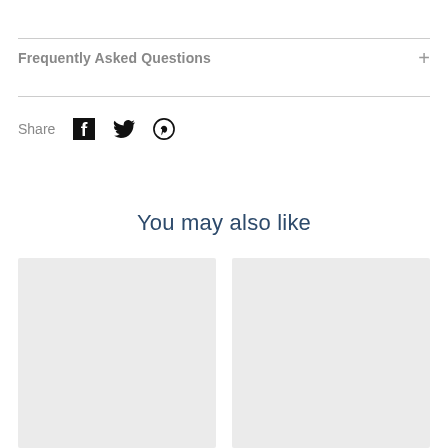Frequently Asked Questions
Share
[Figure (other): Social share icons: Facebook, Twitter, Pinterest]
You may also like
[Figure (other): Product image placeholder (left)]
[Figure (other): Product image placeholder (right)]